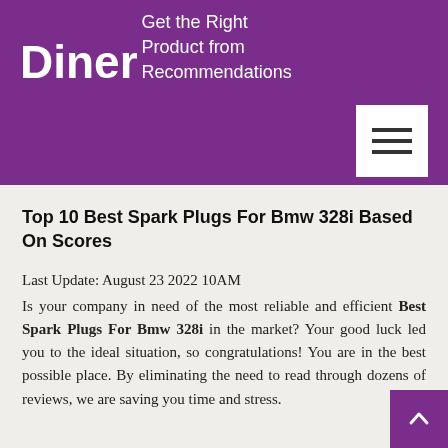Diner
Get the Right Product from Recommendations
[Figure (other): Hamburger menu icon button with three horizontal lines on white square background]
Top 10 Best Spark Plugs For Bmw 328i Based On Scores
Last Update: August 23 2022 10AM
Is your company in need of the most reliable and efficient Best Spark Plugs For Bmw 328i in the market? Your good luck led you to the ideal situation, so congratulations! You are in the best possible place. By eliminating the need to read through dozens of reviews, we are saving you time and stress.